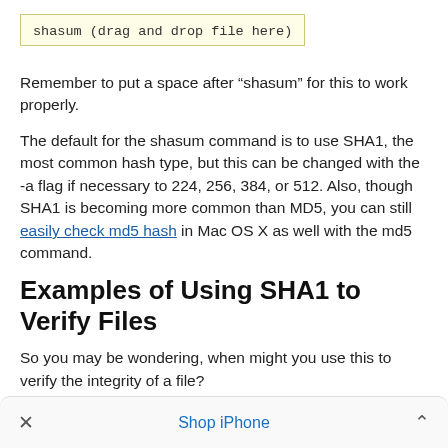Remember to put a space after “shasum” for this to work properly.
The default for the shasum command is to use SHA1, the most common hash type, but this can be changed with the -a flag if necessary to 224, 256, 384, or 512. Also, though SHA1 is becoming more common than MD5, you can still easily check md5 hash in Mac OS X as well with the md5 command.
Examples of Using SHA1 to Verify Files
So you may be wondering, when might you use this to verify the integrity of a file?
×   Shop iPhone   ˄